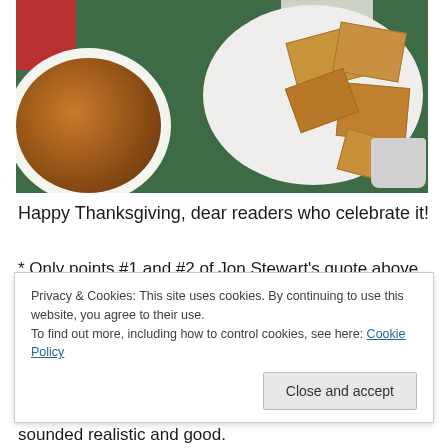[Figure (photo): Overhead photo of Thanksgiving food on a green table: a pumpkin pie in a white dish (lower left), a white plate with several square golden pastry/cracker pieces (center right), a plastic butter container (top center), a red hat partially visible (top left), and a gray cup (bottom right).]
Happy Thanksgiving, dear readers who celebrate it!
* Only points #1 and #2 of Jon Stewart’s quote above
Privacy & Cookies: This site uses cookies. By continuing to use this website, you agree to their use.
To find out more, including how to control cookies, see here: Cookie Policy
sounded realistic and good.